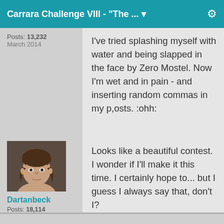Carrara Challenge VIII - "The ...
Posts: 13,232
March 2014
I've tried splashing myself with water and being slapped in the face by Zero Mostel. Now I'm wet and in pain - and inserting random commas in my p,osts. :ohh:
[Figure (photo): Avatar photo of a shirtless man with long brown hair]
Dartanbeck
Posts: 18,114
March 2014
Looks like a beautiful contest. I wonder if I'll make it this time. I certainly hope to... but I guess I always say that, don't I?